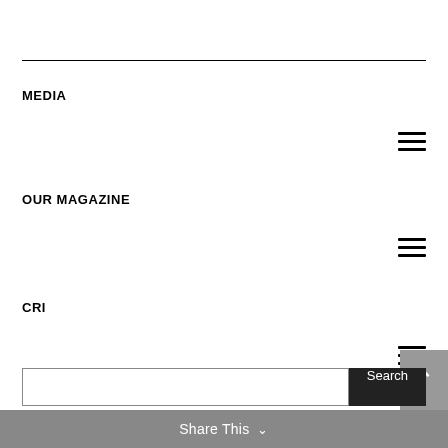MEDIA
OUR MAGAZINE
CRI
Search
Share This